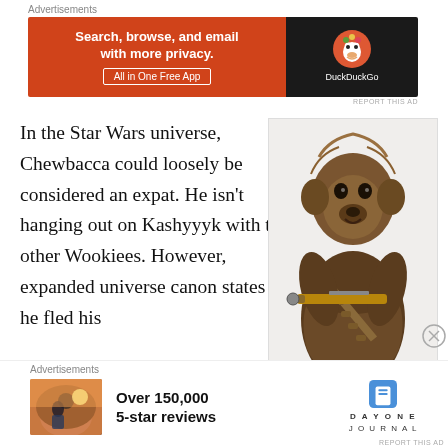[Figure (screenshot): DuckDuckGo advertisement banner: orange left side with text 'Search, browse, and email with more privacy. All in One Free App' and dark right side with DuckDuckGo logo and duck icon]
In the Star Wars universe, Chewbacca could loosely be considered an expat.  He isn't hanging out on Kashyyyk with the other Wookiees.  However, expanded universe canon states that he fled his
[Figure (photo): Chewbacca character from Star Wars, full body standing, holding a bowcaster weapon, covered in brown fur with a bandolier strap]
[Figure (screenshot): Day One Journal advertisement: photo of person at sunset, text 'Over 150,000 5-star reviews' with Day One Journal logo]